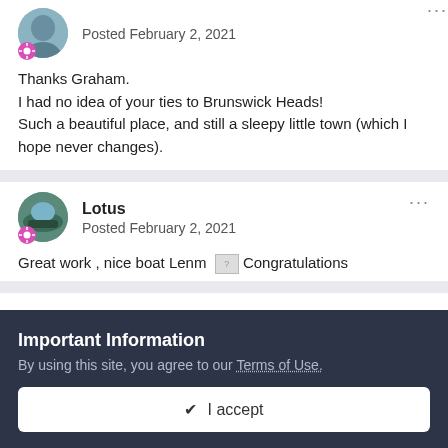Posted February 2, 2021
Thanks Graham.
I had no idea of your ties to Brunswick Heads!
Such a beautiful place, and still a sleepy little town (which I hope never changes).
Lotus
Posted February 2, 2021
Great work , nice boat Lenm  ? Congratulations
Important Information
By using this site, you agree to our Terms of Use.
✔ I accept